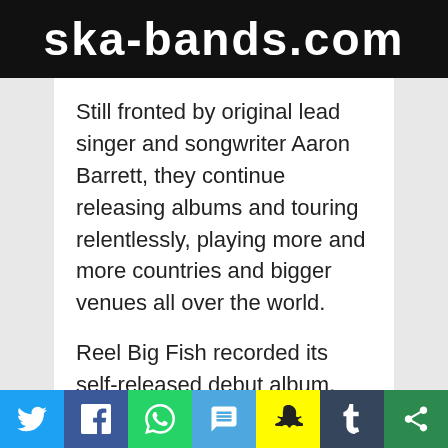ska-bands.com
Still fronted by original lead singer and songwriter Aaron Barrett, they continue releasing albums and touring relentlessly, playing more and more countries and bigger venues all over the world.
Reel Big Fish recorded its self-released debut album, “Everything Sucks”, in 1995. “Everything Sucks” became a word-of-mouth underground hit in ska-